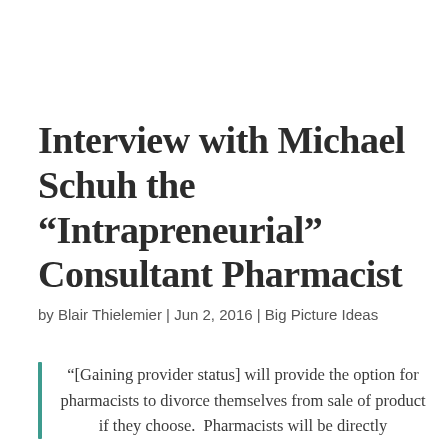Interview with Michael Schuh the “Intrapreneurial” Consultant Pharmacist
by Blair Thielemier | Jun 2, 2016 | Big Picture Ideas
“[Gaining provider status] will provide the option for pharmacists to divorce themselves from sale of product if they choose.  Pharmacists will be directly